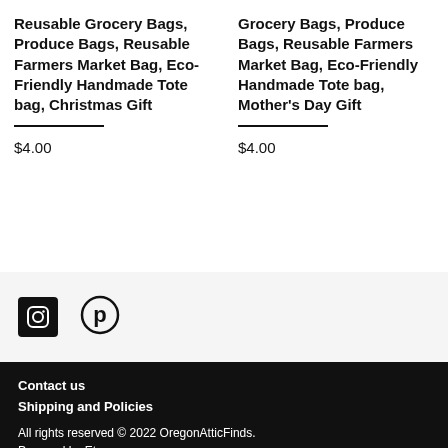Reusable Grocery Bags, Produce Bags, Reusable Farmers Market Bag, Eco-Friendly Handmade Tote bag, Christmas Gift
$4.00
Grocery Bags, Produce Bags, Reusable Farmers Market Bag, Eco-Friendly Handmade Tote bag, Mother's Day Gift
$4.00
[Figure (logo): Instagram icon (camera icon) in white on black square]
[Figure (logo): Pinterest icon (P letter) in black, circle outline]
Contact us
Shipping and Policies
All rights reserved © 2022 OregonAtticFinds.
Powered by Etsy